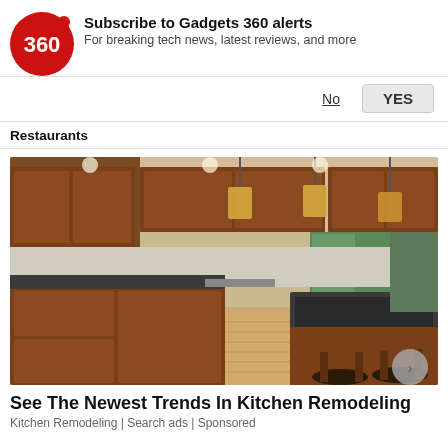[Figure (logo): Gadgets 360 red circle logo with '360' text in white]
Subscribe to Gadgets 360 alerts
For breaking tech news, latest reviews, and more
No
YES
Restaurants
[Figure (photo): A renovated kitchen with dark granite countertops, cherry wood cabinets, pendant lights, and bar stools at a large island]
See The Newest Trends In Kitchen Remodeling
Kitchen Remodeling | Search ads | Sponsored